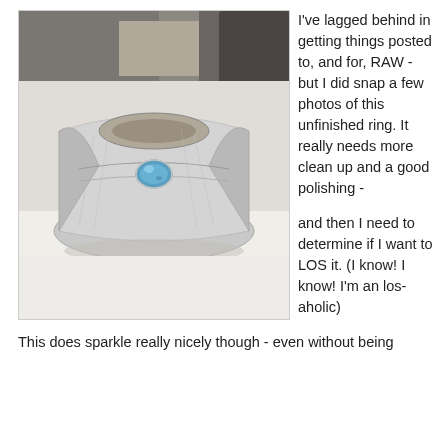[Figure (photo): A silver wide-band ring with a blue gemstone set in the center, photographed on a white surface with a blurred background.]
I've lagged behind in getting things posted to, and for, RAW - but I did snap a few photos of this unfinished ring. It really needs more clean up and a good polishing -

and then I need to determine if I want to LOS it. (I know! I know! I'm an los-aholic)

This does sparkle really nicely though - even without being